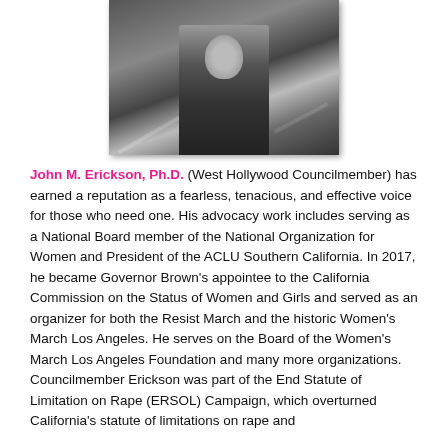[Figure (photo): Black and white photo of John M. Erickson standing outdoors, cropped at mid-body, with road markings visible in the background.]
John M. Erickson, Ph.D. (West Hollywood Councilmember) has earned a reputation as a fearless, tenacious, and effective voice for those who need one. His advocacy work includes serving as a National Board member of the National Organization for Women and President of the ACLU Southern California. In 2017, he became Governor Brown's appointee to the California Commission on the Status of Women and Girls and served as an organizer for both the Resist March and the historic Women's March Los Angeles. He serves on the Board of the Women's March Los Angeles Foundation and many more organizations. Councilmember Erickson was part of the End Statute of Limitation on Rape (ERSOL) Campaign, which overturned California's statute of limitations on rape and